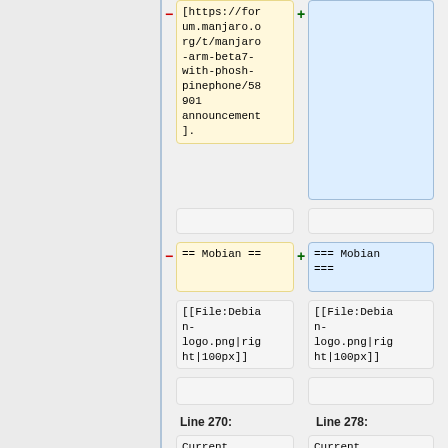[https://forum.manjaro.org/t/manjaro-arm-beta7-with-phosh-pinephone/58901 announcement].
== Mobian ==
=== Mobian ===
[[File:Debian-logo.png|right|100px]]
[[File:Debian-logo.png|right|100px]]
Line 270:
Line 278:
Current version is
Current version is